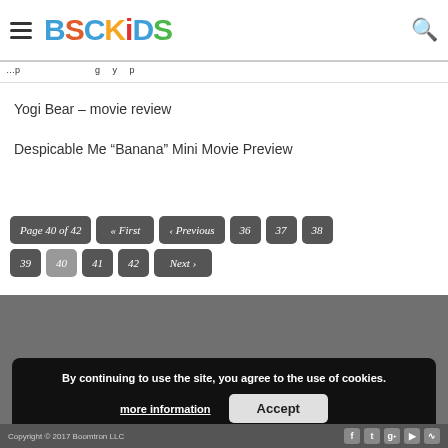BSCKiDS
Yogi Bear – movie review
Despicable Me “Banana” Mini Movie Preview
Page 40 of 42  « First  ‹ Previous  36  37  38  39  40  41  42  Next ›
By continuing to use the site, you agree to the use of cookies. more information  Accept
Copyright © 2017 Boomtron LLC